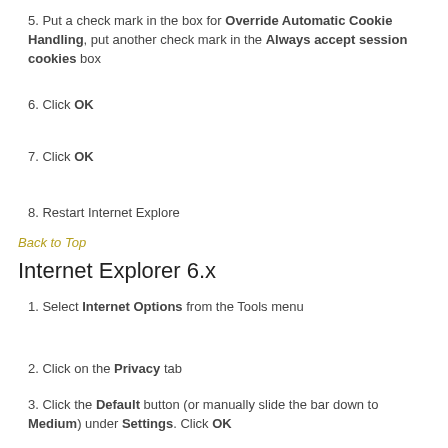5. Put a check mark in the box for Override Automatic Cookie Handling, put another check mark in the Always accept session cookies box
6. Click OK
7. Click OK
8. Restart Internet Explore
Back to Top
Internet Explorer 6.x
1. Select Internet Options from the Tools menu
2. Click on the Privacy tab
3. Click the Default button (or manually slide the bar down to Medium) under Settings. Click OK